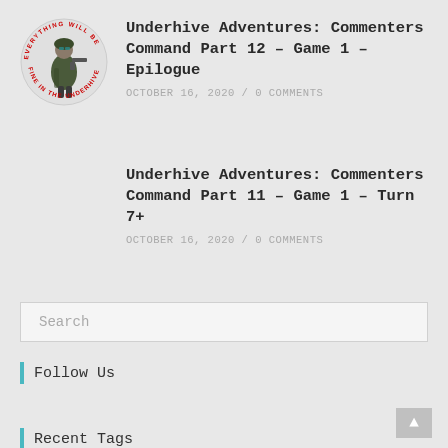[Figure (logo): Circular logo with text 'EVERYTHING WILL BE FINE IN THE UNDERHIVE' around the border in red, with a soldier/warrior figure in the center]
Underhive Adventures: Commenters Command Part 12 - Game 1 - Epilogue
OCTOBER 16, 2020 / 0 COMMENTS
Underhive Adventures: Commenters Command Part 11 - Game 1 - Turn 7+
OCTOBER 16, 2020 / 0 COMMENTS
Search
Follow Us
Recent Tags